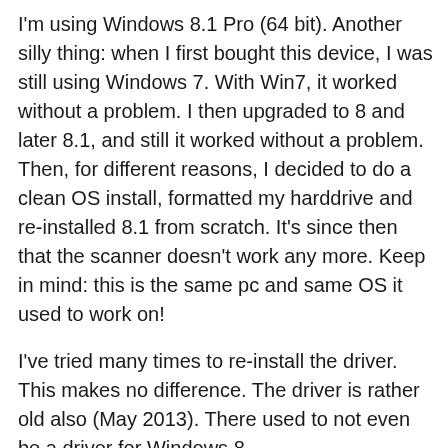I'm using Windows 8.1 Pro (64 bit). Another silly thing: when I first bought this device, I was still using Windows 7. With Win7, it worked without a problem. I then upgraded to 8 and later 8.1, and still it worked without a problem. Then, for different reasons, I decided to do a clean OS install, formatted my harddrive and re-installed 8.1 from scratch. It's since then that the scanner doesn't work any more. Keep in mind: this is the same pc and same OS it used to work on!
I've tried many times to re-install the driver.  This makes no difference. The driver is rather old also (May 2013). There used to not even be a driver for Windows 8...
Currently, if I really need to scan, I scan straight from the Xerox device to a shared network folder. This is an intermediate solution, which has its downsides. For one, it only scans to PDF and it's also not handy if I want to add multiple scans into one document.
I also something like this for some reason... but it's...